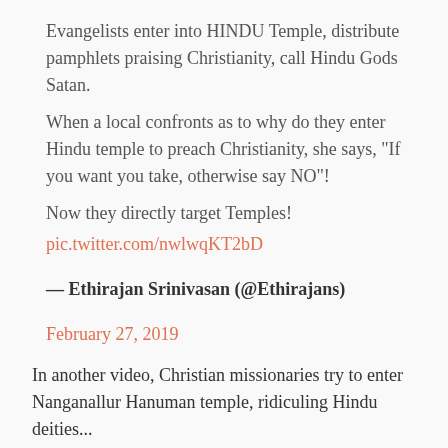Evangelists enter into HINDU Temple, distribute pamphlets praising Christianity, call Hindu Gods Satan.
When a local confronts as to why do they enter Hindu temple to preach Christianity, she says, "If you want you take, otherwise say NO"!
Now they directly target Temples!
pic.twitter.com/nwlwqKT2bD
— Ethirajan Srinivasan (@Ethirajans)
February 27, 2019
In another video, Christian missionaries try to enter Nanganallur Hanuman temple, ridiculing Hindu deities...